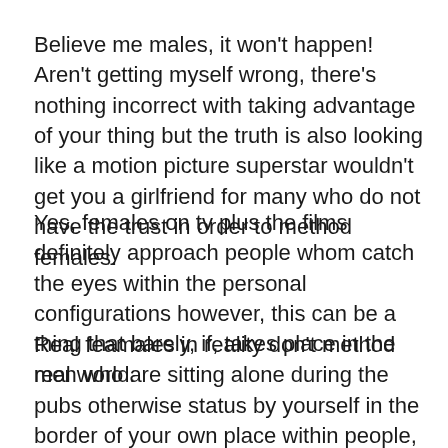Believe me males, it won't happen! Aren't getting myself wrong, there's nothing incorrect with taking advantage of your thing but the truth is also looking like a motion picture superstar wouldn't get you a girlfriend for many who do not have the trust in order to method females.
Yes, females on tv plus the films definitely approach people whom catch the eyes within the personal configurations however, this can be a thing that barely, if, takes place in the real world.
Real feamales in reality don't method men who are sitting alone during the pubs otherwise status by yourself in the border of your own place within people, this is certainly she [red dot] movie industry! On the real world, ladies fundamentally never method guys whatsoever, however, if it come across a man that they like, they are going to
[Figure (other): Red dot / circle overlaid on text]